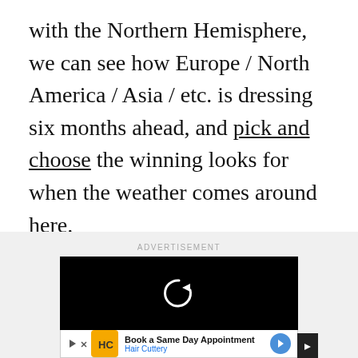with the Northern Hemisphere, we can see how Europe / North America / Asia / etc. is dressing six months ahead, and pick and choose the winning looks for when the weather comes around here.
[Figure (other): Advertisement section with label 'ADVERTISEMENT', a black video player area with a circular replay/refresh arrow icon in white, and a banner ad below for 'Hair Cuttery' with text 'Book a Same Day Appointment' and a navigation arrow button.]